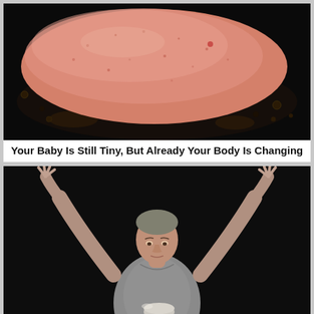[Figure (photo): Close-up photo of a pink/flesh-colored round object (possibly cooking meat) on a dark black surface with bubbles and moisture around the edges.]
Your Baby Is Still Tiny, But Already Your Body Is Changing
[Figure (photo): Photo of a man in a gray t-shirt against a black background with arms raised above his head, looking down at stacked white stones/rocks in front of him.]
People Moving Objects Around Just By Focusing On Them